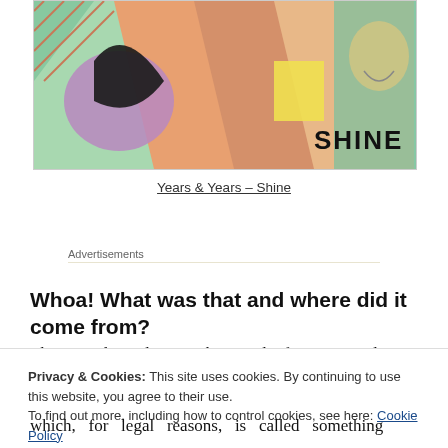[Figure (illustration): Album art for Years & Years - Shine. Colorful geometric/abstract illustration with teal, orange, purple and yellow shapes. The word SHINE appears in bold black letters in the top-right corner.]
Years & Years – Shine
Advertisements
Whoa! What was that and where did it come from?
That, good people, was the sound of young people
Privacy & Cookies: This site uses cookies. By continuing to use this website, you agree to their use.
To find out more, including how to control cookies, see here: Cookie Policy
Close and accept
which, for legal reasons, is called something